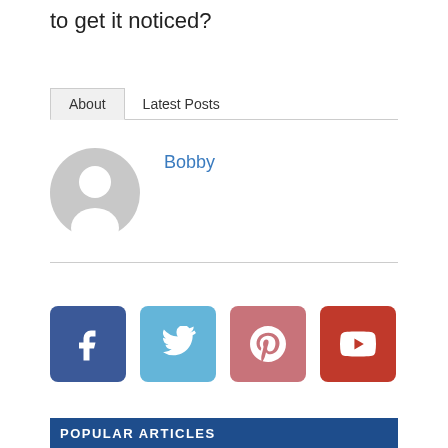to get it noticed?
About   Latest Posts
[Figure (illustration): Default user avatar — grey circle with white silhouette of a person]
Bobby
[Figure (infographic): Four social media icon buttons: Facebook (dark blue), Twitter (light blue), Pinterest (dusty pink/red), YouTube (red)]
POPULAR ARTICLES